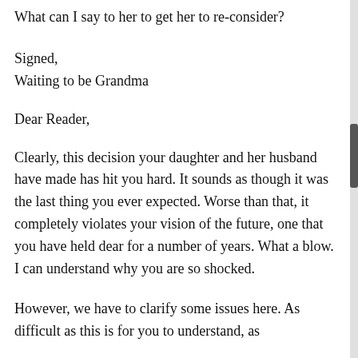What can I say to her to get her to re-consider?
Signed,
Waiting to be Grandma
Dear Reader,
Clearly, this decision your daughter and her husband have made has hit you hard. It sounds as though it was the last thing you ever expected. Worse than that, it completely violates your vision of the future, one that you have held dear for a number of years. What a blow. I can understand why you are so shocked.
However, we have to clarify some issues here. As difficult as this is for you to understand, as